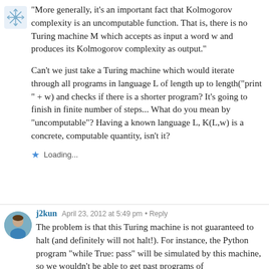“More generally, it’s an important fact that Kolmogorov complexity is an uncomputable function. That is, there is no Turing machine M which accepts as input a word w and produces its Kolmogorov complexity as output.”
Can’t we just take a Turing machine which would iterate through all programs in language L of length up to length(“print ” + w) and checks if there is a shorter program? It’s going to finish in finite number of steps... What do you mean by “uncomputable”? Having a known language L, K(L,w) is a concrete, computable quantity, isn’t it?
Loading...
j2kun
April 23, 2012 at 5:49 pm • Reply
The problem is that this Turing machine is not guaranteed to halt (and definitely will not halt!). For instance, the Python program “while True: pass” will be simulated by this machine, so we wouldn’t be able to get past programs of